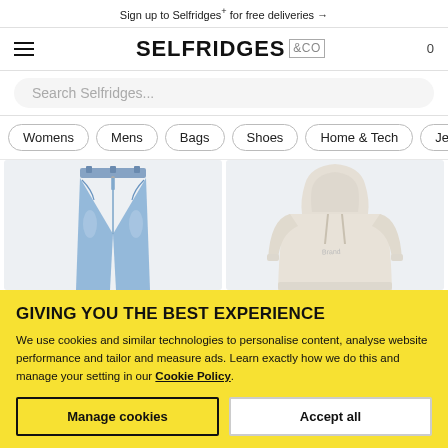Sign up to Selfridges+ for free deliveries →
[Figure (logo): Selfridges & Co logo with hamburger menu and cart count 0]
Search Selfridges...
Womens
Mens
Bags
Shoes
Home & Tech
Jewe…
[Figure (photo): Blue denim jeans product photo on light grey background]
[Figure (photo): Cream/off-white hoodie product photo on light grey background]
GIVING YOU THE BEST EXPERIENCE
We use cookies and similar technologies to personalise content, analyse website performance and tailor and measure ads. Learn exactly how we do this and manage your setting in our Cookie Policy.
Manage cookies
Accept all